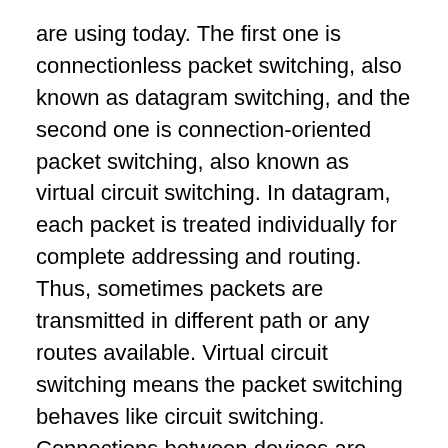are using today. The first one is connectionless packet switching, also known as datagram switching, and the second one is connection-oriented packet switching, also known as virtual circuit switching. In datagram, each packet is treated individually for complete addressing and routing. Thus, sometimes packets are transmitted in different path or any routes available. Virtual circuit switching means the packet switching behaves like circuit switching. Connections between devices are completed by using dedicated nodes or routes for packet transmission. Each packet includes a connection identifier and delivered in an order.
Packet mode communication may be used with or without transitional forwarding nodes (packet switches or routers). In all packet mode communication, network resources are managed by statistical multiplexing or dynamic bandwidth allocation.